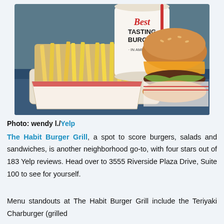[Figure (photo): A photograph showing a basket of golden french fries, a burger with melted cheese and toppings on wrapped paper, and a cup labeled 'Best Tasting Burger in America' in the background.]
Photo: wendy l./Yelp
The Habit Burger Grill, a spot to score burgers, salads and sandwiches, is another neighborhood go-to, with four stars out of 183 Yelp reviews. Head over to 3555 Riverside Plaza Drive, Suite 100 to see for yourself.
Menu standouts at The Habit Burger Grill include the Teriyaki Charburger (grilled